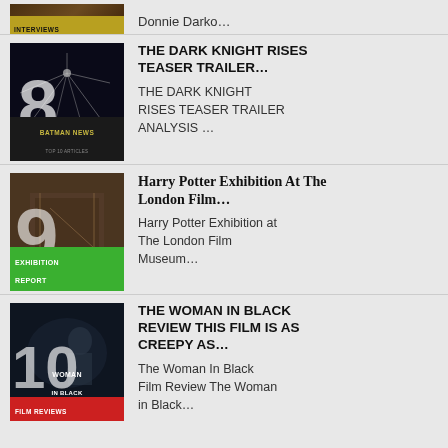Donnie Darko…
THE DARK KNIGHT RISES TEASER TRAILER… | THE DARK KNIGHT RISES TEASER TRAILER ANALYSIS …
Harry Potter Exhibition At The London Film… | Harry Potter Exhibition at The London Film Museum…
THE WOMAN IN BLACK REVIEW THIS FILM IS AS CREEPY AS… | The Woman In Black Film Review The Woman in Black…